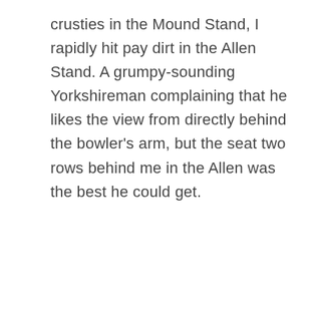crusties in the Mound Stand, I rapidly hit pay dirt in the Allen Stand. A grumpy-sounding Yorkshireman complaining that he likes the view from directly behind the bowler's arm, but the seat two rows behind me in the Allen was the best he could get.